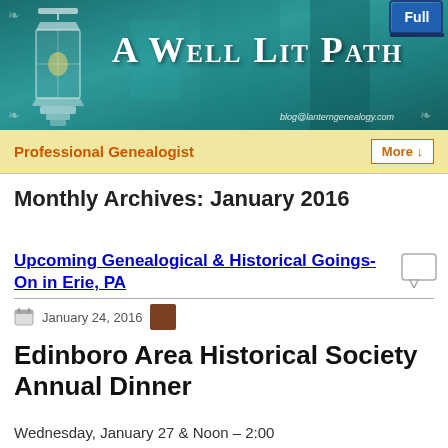[Figure (illustration): Blog header banner with teal/green watercolor background, decorative lantern on left, blog title 'A Well Lit Path' in white serif small-caps font, URL blog@lanterngenealogy.com at bottom right, and 'Full' button overlay in upper right corner.]
Professional Genealogist | More ↓
Monthly Archives: January 2016
Upcoming Genealogical & Historical Goings-On in Erie, PA
January 24, 2016
Edinboro Area Historical Society Annual Dinner
Wednesday, January 27 & Noon – 2:00